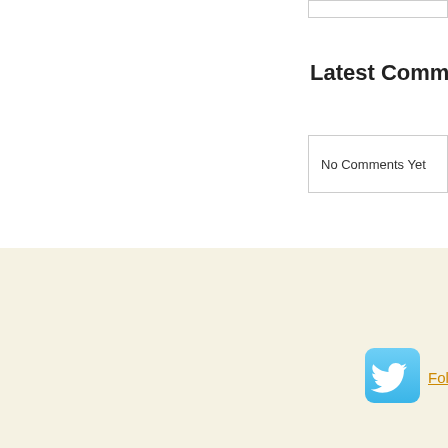Latest Comm
No Comments Yet
[Figure (logo): Twitter bird logo icon in blue rounded square]
Follow u